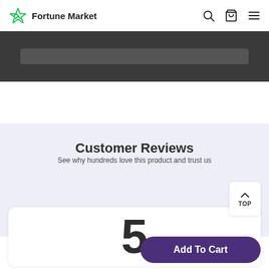Fortune Market
[Figure (screenshot): Dark banner strip showing a product image partially visible]
Customer Reviews
See why hundreds love this product and trust us
TOP
5
Add To Cart